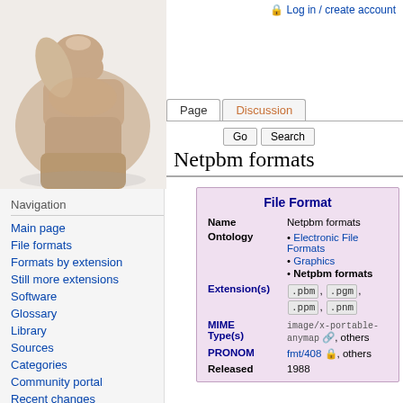🔒 Log in / create account
[Figure (photo): Thumbs up photo — a hand giving a thumbs up gesture on white background]
Page | Discussion
Go | Search
Netpbm formats
Navigation
Main page
File formats
Formats by extension
Still more extensions
Software
Glossary
Library
Sources
Categories
Community portal
Recent changes
Random page
| Field | Value |
| --- | --- |
| File Format |  |
| Name | Netpbm formats |
| Ontology | Electronic File Formats
Graphics
Netpbm formats |
| Extension(s) | .pbm, .pgm, .ppm, .pnm |
| MIME Type(s) | image/x-portable-anymap, others |
| PRONOM | fmt/408, others |
| Released | 1988 |